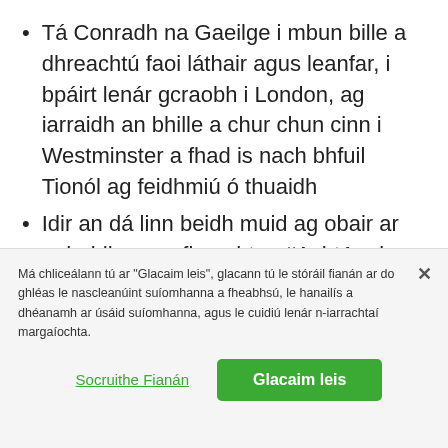Tá Conradh na Gaeilge i mbun bille a dhreachtú faoi láthair agus leanfar, i bpáirt lenár gcraobh i London, ag iarraidh an bhille a chur chun cinn i Westminster a fhad is nach bhfuil Tionól ag feidhmiú ó thuaidh
Idir an dá linn beidh muid ag obair ar aghaidh ar an fheachtas #AchtAnois agus ag bualadh le páirtithe ó thuaidh i rith an ama
Tá nasc anseo chuig leabhrán leis na freagraí
Má chliceálann tú ar "Glacaim leis", glacann tú le stóráil fianán ar do ghléas le nascleanúint suíomhanna a fheabhsú, le hanailís a dhéanamh ar úsáid suíomhanna, agus le cuidiú lenár n-iarrachtaí margaíochta.
Socruithe Fianán
Glacaim leis